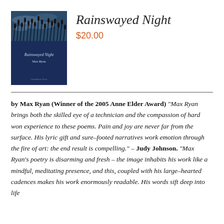[Figure (illustration): Book cover of 'Rainswayed Night' by Max Ryan. Dark navy blue cover with a landscape scene showing grasses or reeds against a cloudy sky at the top. White italic title text reads 'Rainswayed Night' and author name 'Max Ryan' below. Small publisher text at bottom.]
Rainswayed Night
$20.00
by Max Ryan (Winner of the 2005 Anne Elder Award) “Max Ryan brings both the skilled eye of a technician and the compassion of hard won experience to these poems. Pain and joy are never far from the surface. His lyric gift and sure–footed narratives work emotion through the fire of art: the end result is compelling.” – Judy Johnson. “Max Ryan’s poetry is disarming and fresh – the image inhabits his work like a mindful, meditating presence, and this, coupled with his large–hearted cadences makes his work enormously readable. His words sift deep into life